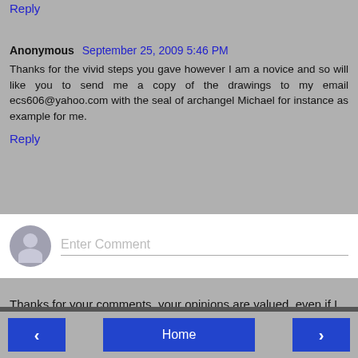Reply
Anonymous  September 25, 2009 5:46 PM
Thanks for the vivid steps you gave however I am a novice and so will like you to send me a copy of the drawings to my email ecs606@yahoo.com with the seal of archangel Michael for instance as example for me.
Reply
[Figure (other): Comment input box with user avatar placeholder and 'Enter Comment' placeholder text]
Thanks for your comments, your opinions are valued, even if I disagree with them. Please feel free to criticize my ideas and arguments, question my observations, and push back if you disagree.
< Home >